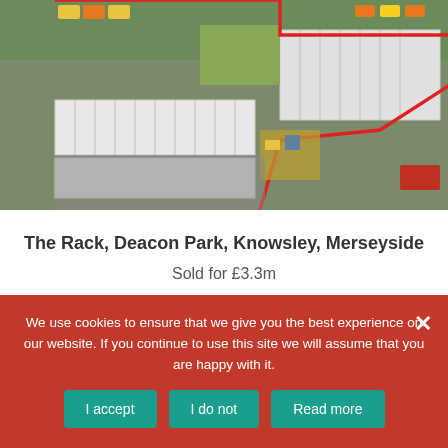[Figure (photo): Aerial photograph of The Rack, Deacon Park warehouse facility showing industrial buildings, parking areas, and surrounding infrastructure]
The Rack, Deacon Park, Knowsley, Merseyside
Sold for £3.3m
A single storey, detached warehouse facility totalling 79,263ft of steel frame construction with integral offices. 7.7m eaves height. 5 dock loading doors, 1 ground level door. Concrete surfaced yard. Extensive car parking. Deacon Park is a modern well
We use cookies to ensure that we give you the best experience on our website. If you continue to use this site we will assume that you are happy with it.
I accept  I do not  Read more